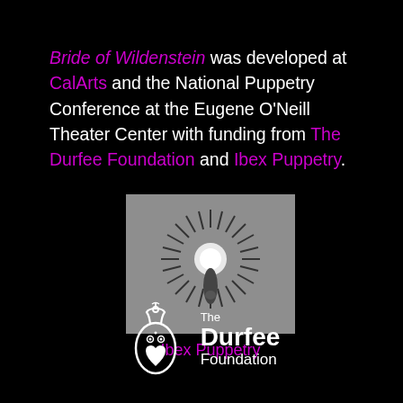Bride of Wildenstein was developed at CalArts and the National Puppetry Conference at the Eugene O'Neill Theater Center with funding from The Durfee Foundation and Ibex Puppetry.
[Figure (photo): Black and white photograph of a puppet or sculptural figure with a circular, radial arrangement of spiky elements around a central figure, from Ibex Puppetry]
Ibex Puppetry
[Figure (logo): The Durfee Foundation logo — white owl/creature icon with a heart shape, alongside the text 'The Durfee Foundation']